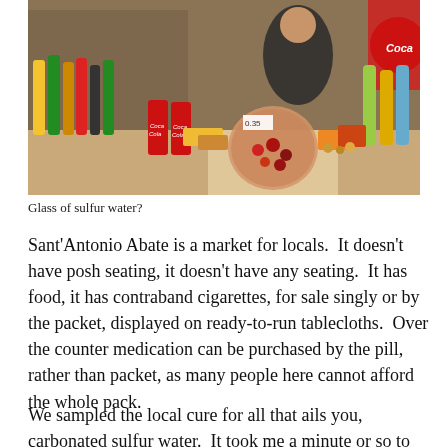[Figure (photo): A market stall counter loaded with bottles of soft drinks, Coca-Cola cans, a large jar of candies, snacks, and other goods, with a woman standing behind the counter.]
Glass of sulfur water?
Sant'Antonio Abate is a market for locals.  It doesn't have posh seating, it doesn't have any seating.  It has food, it has contraband cigarettes, for sale singly or by the packet, displayed on ready-to-run tablecloths.  Over the counter medication can be purchased by the pill, rather than packet, as many people here cannot afford the whole pack.
We sampled the local cure for all that ails you, carbonated sulfur water.  It took me a minute or so to identify the